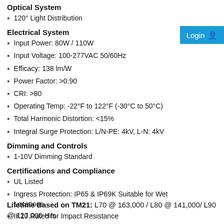120° Light Distribution
Electrical System
Input Power: 80W / 110W
Input Voltage: 100-277VAC 50/60Hz
Efficacy: 138 lm/W
Power Factor: >0.90
CRI: >80
Operating Temp: -22°F to 122°F (-30°C to 50°C)
Total Harmonic Distortion: <15%
Integral Surge Protection: L/N-PE: 4kV, L-N: 4kV
Dimming and Controls
1-10V Dimming Standard
Certifications and Compliance
UL Listed
Ingress Protection: IP65 & IP69K Suitable for Wet Locations
IK10 Rated for Impact Resistance
Meets FCC Part 15, Subpart B, Class A limits for conducted and radiated Emissions
Lifetime Based on TM21: L70 @ 163,000 / L80 @ 141,000/ L90 @ 127,000 Hrs